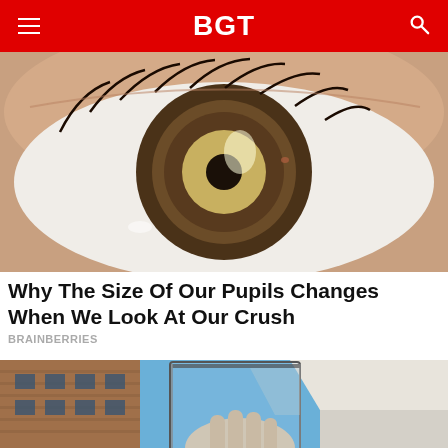BGT
[Figure (photo): Extreme close-up macro photograph of a human eye showing a brown iris with a dilated pupil and visible eyelashes]
Why The Size Of Our Pupils Changes When We Look At Our Crush
BRAINBERRIES
[Figure (photo): A hand holding a transparent glass or solar panel square against a blue sky, with brick and white buildings in the background]